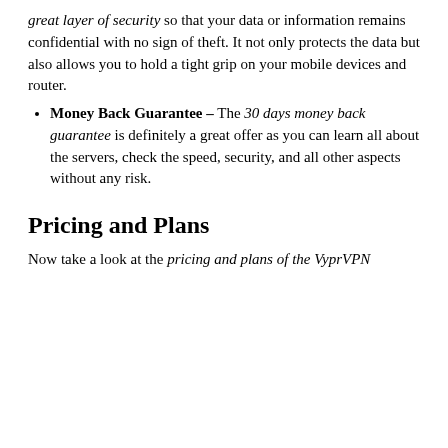great layer of security so that your data or information remains confidential with no sign of theft. It not only protects the data but also allows you to hold a tight grip on your mobile devices and router.
Money Back Guarantee – The 30 days money back guarantee is definitely a great offer as you can learn all about the servers, check the speed, security, and all other aspects without any risk.
Pricing and Plans
Now take a look at the pricing and plans of the VyprVPN